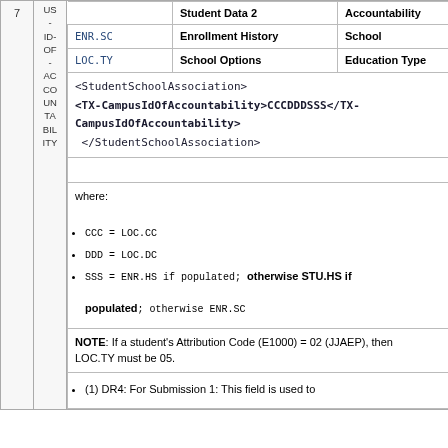| # | Side | Code | Label | Extra |
| --- | --- | --- | --- | --- |
| 7 | US-ID-OF-AC CO UN TA BIL ITY | ENR.SC | Enrollment History | School |
|  |  | LOC.TY | School Options | Education Type |
|  |  | <StudentSchoolAssociation>
<TX-CampusIdOfAccountability>CCCDDDSSS</TX-CampusIdOfAccountability>
</StudentSchoolAssociation> |  |  |
|  |  |  | where:
• CCC = LOC.CC
• DDD = LOC.DC
• SSS = ENR.HS if populated; otherwise STU.HS if populated; otherwise ENR.SC
NOTE: If a student's Attribution Code (E1000) = 02 (JJAEP), then LOC.TY must be 05. |  |
|  |  | • (1) DR4: For Submission 1: This field is used to |  |  |